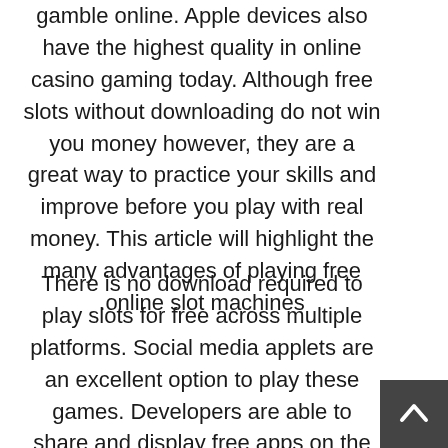gamble online. Apple devices also have the highest quality in online casino gaming today. Although free slots without downloading do not win you money however, they are a great way to practice your skills and improve before you play with real money. This article will highlight the many advantages of playing free online slot machines.
There is no download required to play slots for free across multiple platforms. Social media applets are an excellent option to play these games. Developers are able to share and display free apps on the internet. These applications run on